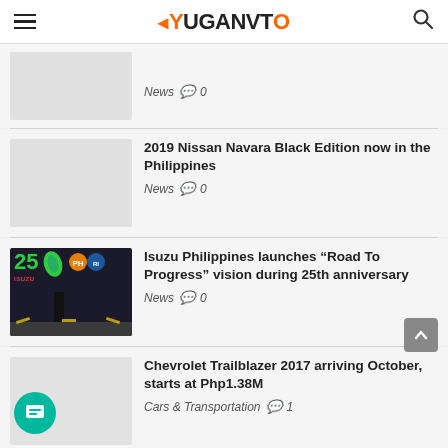YUGAVTO
News  0
2019 Nissan Navara Black Edition now in the Philippines
News  0
Isuzu Philippines launches “Road To Progress” vision during 25th anniversary
News  0
Chevrolet Trailblazer 2017 arriving October, starts at Php1.38M
Cars & Transportation  1